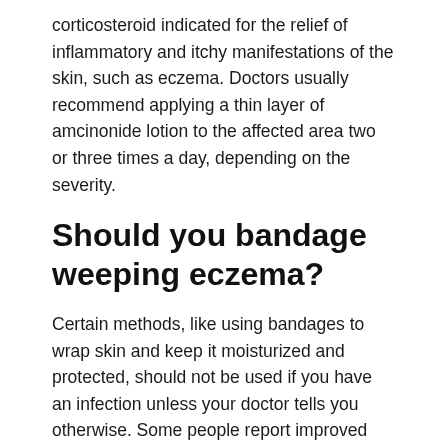corticosteroid indicated for the relief of inflammatory and itchy manifestations of the skin, such as eczema. Doctors usually recommend applying a thin layer of amcinonide lotion to the affected area two or three times a day, depending on the severity.
Should you bandage weeping eczema?
Certain methods, like using bandages to wrap skin and keep it moisturized and protected, should not be used if you have an infection unless your doctor tells you otherwise. Some people report improved symptoms with other approaches, such as: Antiseptic emollients.